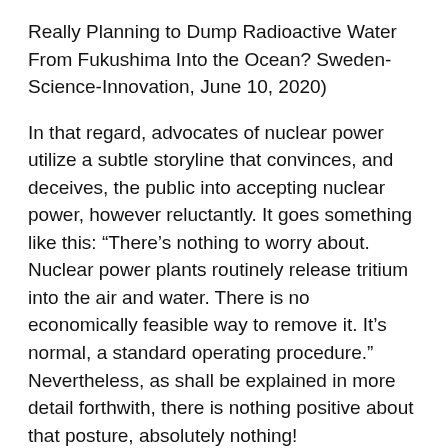Really Planning to Dump Radioactive Water From Fukushima Into the Ocean? Sweden-Science-Innovation, June 10, 2020)
In that regard, advocates of nuclear power utilize a subtle storyline that convinces, and deceives, the public into accepting nuclear power, however reluctantly. It goes something like this: “There’s nothing to worry about. Nuclear power plants routinely release tritium into the air and water. There is no economically feasible way to remove it. It’s normal, a standard operating procedure.” Nevertheless, as shall be explained in more detail forthwith, there is nothing positive about that posture, absolutely nothing!
According to TEPCO, all radioactive isotopes will